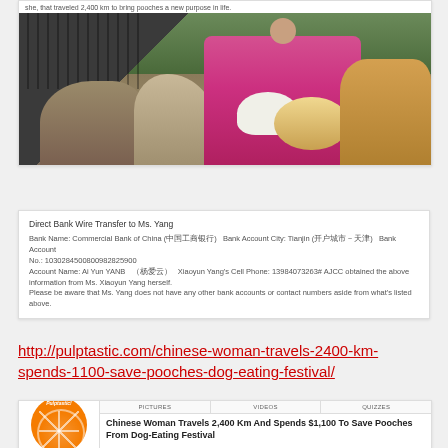[Figure (photo): Woman in pink jacket holding a white dog, surrounded by multiple dogs, some in cages]
[Figure (screenshot): Bank wire transfer information to Ms. Yang: Direct Bank Wire Transfer to Ms. Yang. Bank Name: Commercial Bank of China (中国工商银行). Bank Account City: Tianjin (开户城市-天津). Bank Account No.: 1030284500800982825900. Account Name: Ai Yun YANB （杨爱云）. Xiaoyun Yang's Cell Phone: 13984073263. AJCC obtained the above information from Ms. Xiaoyun Yang herself. Please be aware that Ms. Yang does not have any other bank accounts or contact numbers aside from what's listed above.]
http://pulptastic.com/chinese-woman-travels-2400-km-spends-1100-save-pooches-dog-eating-festival/
[Figure (screenshot): Pulptastic website screenshot showing article: Chinese Woman Travels 2,400 Km And Spends $1,100 To Save Pooches From Dog-Eating Festival, with tabs for PICTURES, VIDEOS, QUIZZES]